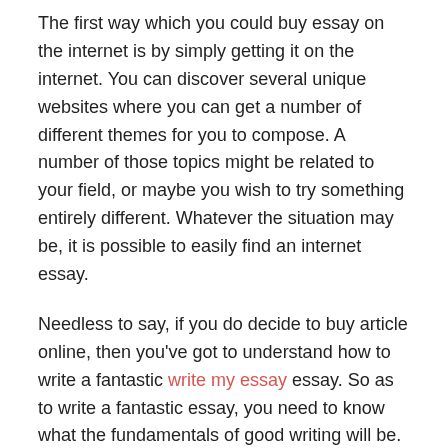The first way which you could buy essay on the internet is by simply getting it on the internet. You can discover several unique websites where you can get a number of different themes for you to compose. A number of those topics might be related to your field, or maybe you wish to try something entirely different. Whatever the situation may be, it is possible to easily find an internet essay.
Needless to say, if you do decide to buy article online, then you've got to understand how to write a fantastic write my essay essay. So as to write a fantastic essay, you need to know what the fundamentals of good writing will be. One of the most crucial things to understand when you're composing an article would be the value of having the ability to clearly explain your ideas and thoughts to the reader. As soon as you are able to earn this clear, you'll have the ability